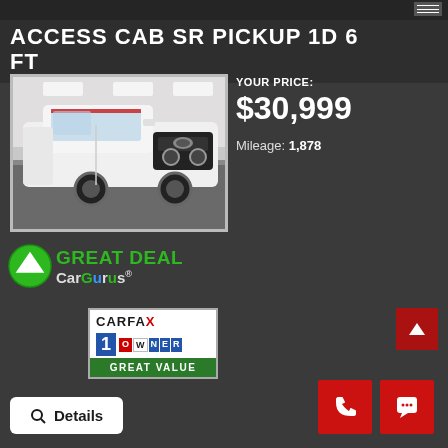ACCESS CAB SR PICKUP 1D 6 FT
[Figure (photo): White Toyota Tacoma Access Cab pickup truck photographed in a dealership showroom]
YOUR PRICE:
$30,999
Mileage: 1,878
[Figure (logo): CarGurus Great Deal badge with green upward arrow and CarGurus logo]
[Figure (logo): CARFAX 1-Owner Great Value badge]
Details
[Figure (other): Phone and chat contact buttons]